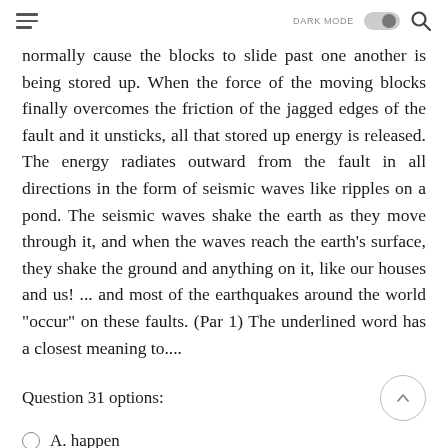DARK MODE [toggle] [search]
normally cause the blocks to slide past one another is being stored up. When the force of the moving blocks finally overcomes the friction of the jagged edges of the fault and it unsticks, all that stored up energy is released. The energy radiates outward from the fault in all directions in the form of seismic waves like ripples on a pond. The seismic waves shake the earth as they move through it, and when the waves reach the earth's surface, they shake the ground and anything on it, like our houses and us! ... and most of the earthquakes around the world "occur" on these faults. (Par 1) The underlined word has a closest meaning to....
Question 31 options:
A. happen